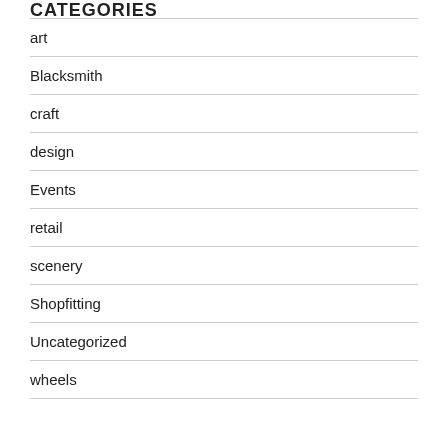CATEGORIES
art
Blacksmith
craft
design
Events
retail
scenery
Shopfitting
Uncategorized
wheels